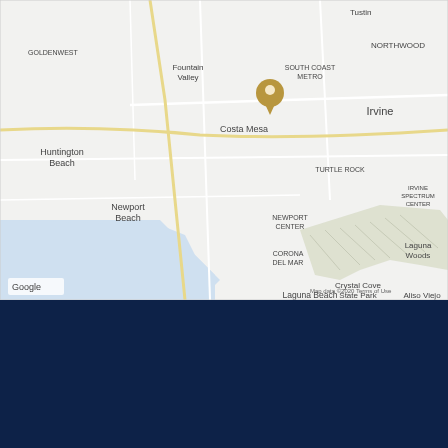[Figure (map): Google Maps screenshot showing the Orange County, California area with a gold/tan location pin marker near Costa Mesa. Visible labels include: Tustin, Goldenwest, Fountain Valley, South Coast Metro, Northwood, Irvine, Huntington Beach, Costa Mesa, Irvine Spectrum Center, Turtle Rock, Newport Beach, Newport Center, Corona Del Mar, Crystal Cove State Park, Laguna Woods, Aliso Viejo, Laguna Beach. Map data ©2020, Terms of Use shown at bottom right. Google logo at bottom left.]
Law Group PC. All Rights Reserved
Policy | Disclaimer | Site Map